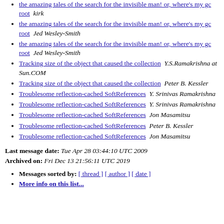the amazing tales of the search for the invisible man! or, where's my gc root   kirk
the amazing tales of the search for the invisible man! or, where's my gc root   Jed Wesley-Smith
the amazing tales of the search for the invisible man! or, where's my gc root   Jed Wesley-Smith
Tracking size of the object that caused the collection   Y.S.Ramakrishna at Sun.COM
Tracking size of the object that caused the collection   Peter B. Kessler
Troublesome reflection-cached SoftReferences   Y. Srinivas Ramakrishna
Troublesome reflection-cached SoftReferences   Y. Srinivas Ramakrishna
Troublesome reflection-cached SoftReferences   Jon Masamitsu
Troublesome reflection-cached SoftReferences   Peter B. Kessler
Troublesome reflection-cached SoftReferences   Jon Masamitsu
Last message date: Tue Apr 28 03:44:10 UTC 2009
Archived on: Fri Dec 13 21:56:11 UTC 2019
Messages sorted by: [ thread ] [ author ] [ date ]
More info on this list...